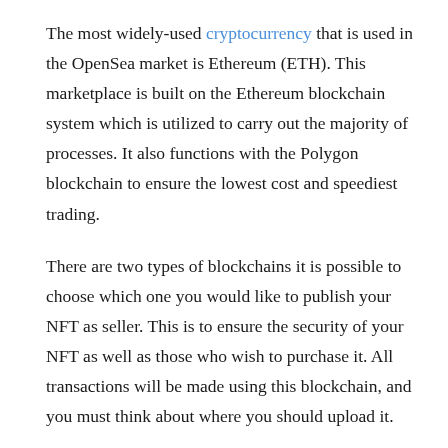The most widely-used cryptocurrency that is used in the OpenSea market is Ethereum (ETH). This marketplace is built on the Ethereum blockchain system which is utilized to carry out the majority of processes. It also functions with the Polygon blockchain to ensure the lowest cost and speediest trading.
There are two types of blockchains it is possible to choose which one you would like to publish your NFT as seller. This is to ensure the security of your NFT as well as those who wish to purchase it. All transactions will be made using this blockchain, and you must think about where you should upload it.
OpenSea: NFT Collection Galore
At OpenSea it's an endless online mall where you can